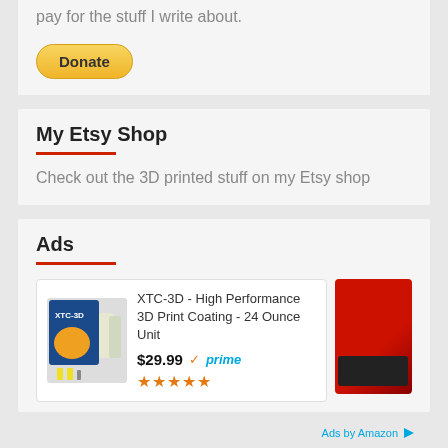pay for the stuff I write about.
[Figure (other): PayPal Donate button with yellow rounded rectangle]
My Etsy Shop
Check out the 3D printed stuff on my Etsy shop
Ads
[Figure (other): Amazon ad showing XTC-3D High Performance 3D Print Coating - 24 Ounce Unit product at $29.99 with Prime badge and 4.5 stars, alongside a red 3D printer machine]
Ads by Amazon